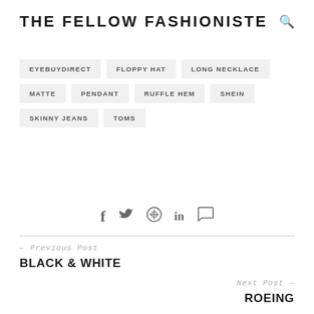THE FELLOW FASHIONISTE
EYEBUYDIRECT
FLOPPY HAT
LONG NECKLACE
MATTE
PENDANT
RUFFLE HEM
SHEIN
SKINNY JEANS
TOMS
[Figure (infographic): Social media share icons: Facebook, Twitter, Pinterest, LinkedIn, Comment]
← Previous Post
BLACK & WHITE
Next Post →
ROEING